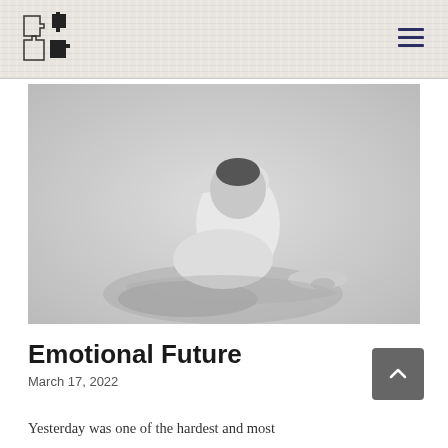[Figure (photo): Black and white photograph of a person dressed in white sitting on the floor with knees drawn up and head bowed into their hands, casting a shadow on a light background, conveying distress or sadness.]
Emotional Future
March 17, 2022
Yesterday was one of the hardest and most